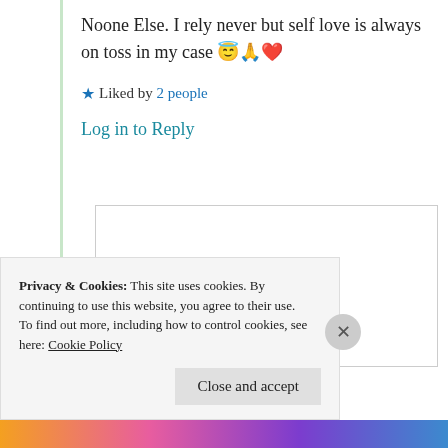Noone Else. I rely never but self love is always on toss in my case 😇🙏❤️
★ Liked by 2 people
Log in to Reply
Yernasia Quorelios
26th Jun 2021 at
Privacy & Cookies: This site uses cookies. By continuing to use this website, you agree to their use.
To find out more, including how to control cookies, see here: Cookie Policy
Close and accept